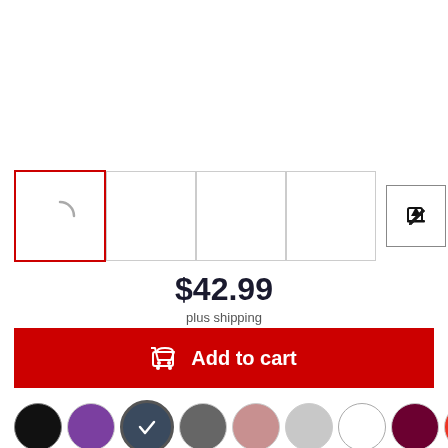[Figure (screenshot): Product image thumbnails row with 4 main thumbnail boxes (first selected with red border, showing a loading spinner), plus two small icon buttons (pencil/edit and checkmark/dropdown)]
$42.99
plus shipping
Add to cart
[Figure (infographic): Row of color swatches: black, purple, heather denim (dark blue-grey, selected with checkmark), grey, mauve/pink, light grey, white, dark maroon/burgundy, red]
Color: heather denim
[Figure (infographic): Size selector boxes showing S, M, L, XL, 2XL, 3XL]